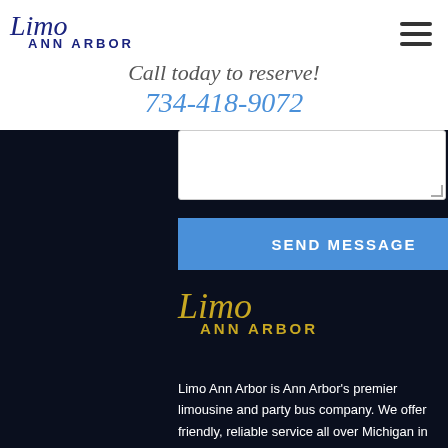Limo Ann Arbor
Call today to reserve!
734-418-9072
[Figure (screenshot): Partially visible text input/textarea field with resize handle]
SEND MESSAGE
[Figure (logo): Limo Ann Arbor logo in gold script on dark background]
Limo Ann Arbor is Ann Arbor's premier limousine and party bus company. We offer friendly, reliable service all over Michigan in our top of the line party buses and limousines and we do it all at affordable rates! We operate 24/7 all year long, including holidays, so you call or email us at absolutely any time for quotes, questions, and more!